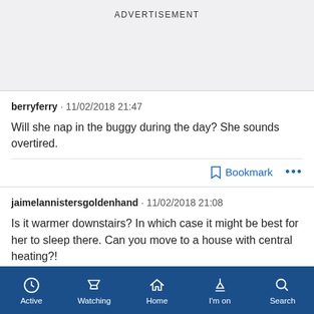ADVERTISEMENT
berryferry · 11/02/2018 21:47

Will she nap in the buggy during the day? She sounds overtired.
jaimelannistersgoldenhand · 11/02/2018 21:08

Is it warmer downstairs? In which case it might be best for her to sleep there. Can you move to a house with central heating?!
Active  Watching  Home  I'm on  Search